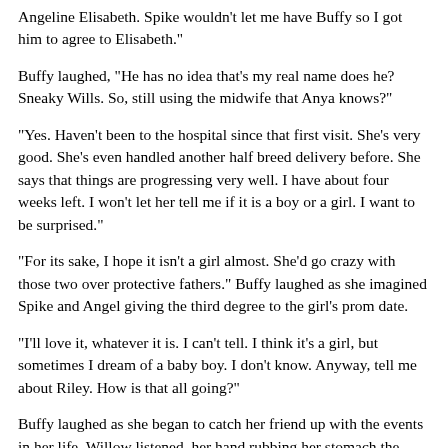Angeline Elisabeth. Spike wouldn't let me have Buffy so I got him to agree to Elisabeth."
Buffy laughed, "He has no idea that's my real name does he? Sneaky Wills. So, still using the midwife that Anya knows?"
"Yes. Haven't been to the hospital since that first visit. She's very good. She's even handled another half breed delivery before. She says that things are progressing very well. I have about four weeks left. I won't let her tell me if it is a boy or a girl. I want to be surprised."
"For its sake, I hope it isn't a girl almost. She'd go crazy with those two over protective fathers." Buffy laughed as she imagined Spike and Angel giving the third degree to the girl's prom date.
"I'll love it, whatever it is. I can't tell. I think it's a girl, but sometimes I dream of a baby boy. I don't know. Anyway, tell me about Riley. How is that all going?"
Buffy laughed as she began to catch her friend up with the events in her life. Willow listened, her hand rubbing her stomach the entire time. She smiled as Buffy spoke of the latest slayings and demons that she had missed. Spike and Angel would be home soon. She wondered if Buffy wanted to stay for dinner. She'd have